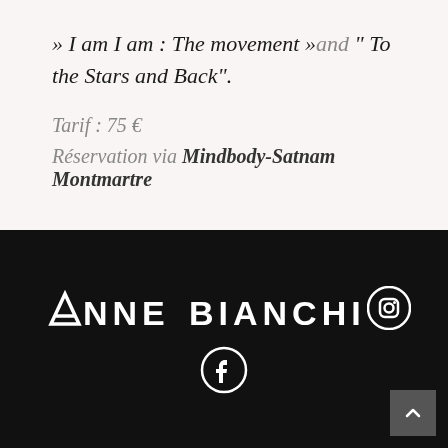» I am I am : The movement » and " To the Stars and Back".
Tarif : 75 €
Réservation via Mindbody-Satnam Montmartre
[Figure (logo): Anne Bianchi logo in white text on black background with Instagram and Facebook social media icons]
Back to top button (arrow up)